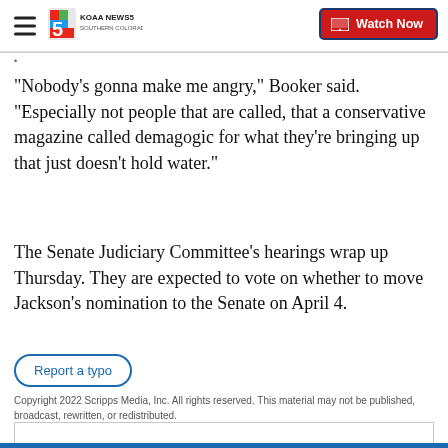KOAA NEWS5 SOUTHERN COLORADO — Watch Now
"Nobody's gonna make me angry," Booker said. "Especially not people that are called, that a conservative magazine called demagogic for what they're bringing up that just doesn't hold water."
The Senate Judiciary Committee's hearings wrap up Thursday. They are expected to vote on whether to move Jackson's nomination to the Senate on April 4.
Report a typo
Copyright 2022 Scripps Media, Inc. All rights reserved. This material may not be published, broadcast, rewritten, or redistributed.